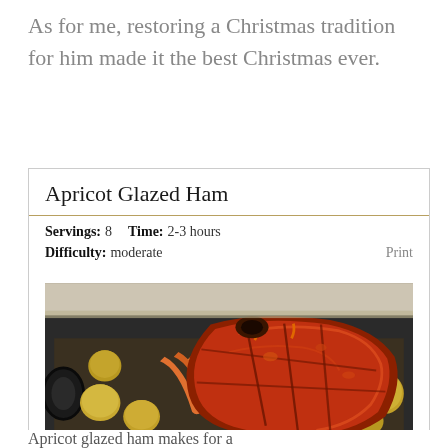As for me, restoring a Christmas tradition for him made it the best Christmas ever.
Apricot Glazed Ham
Servings: 8    Time: 2-3 hours
Difficulty: moderate    Print
[Figure (photo): A roasted glazed ham in a black roasting pan, surrounded by roasted vegetables including carrots and small round potatoes/onions, with a caramelized reddish-brown apricot glaze on the meat.]
Apricot glazed ham makes for a